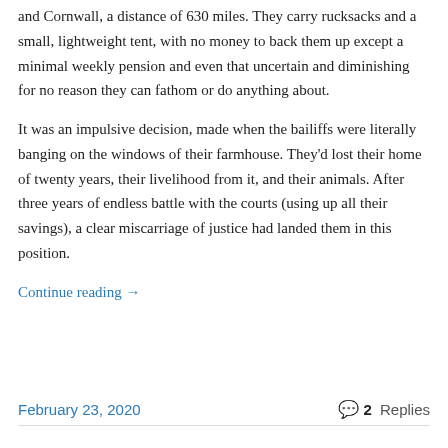and Cornwall, a distance of 630 miles. They carry rucksacks and a small, lightweight tent, with no money to back them up except a minimal weekly pension and even that uncertain and diminishing for no reason they can fathom or do anything about.
It was an impulsive decision, made when the bailiffs were literally banging on the windows of their farmhouse. They'd lost their home of twenty years, their livelihood from it, and their animals. After three years of endless battle with the courts (using up all their savings), a clear miscarriage of justice had landed them in this position.
Continue reading →
February 23, 2020   2 Replies